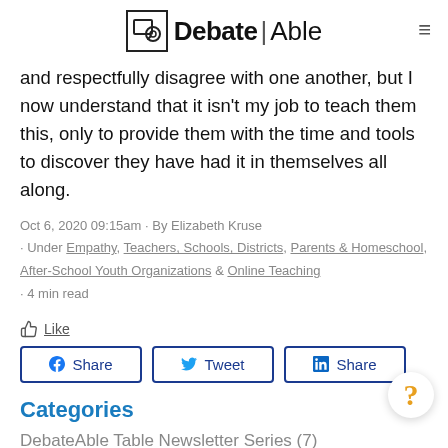DebateAble
and respectfully disagree with one another, but I now understand that it isn't my job to teach them this, only to provide them with the time and tools to discover they have had it in themselves all along.
Oct 6, 2020 09:15am · By Elizabeth Kruse · Under Empathy, Teachers, Schools, Districts, Parents & Homeschool, After-School Youth Organizations & Online Teaching · 4 min read
Like
f Share   Tweet   in Share
Categories
DebateAble Table Newsletter Series (7)
News (3)